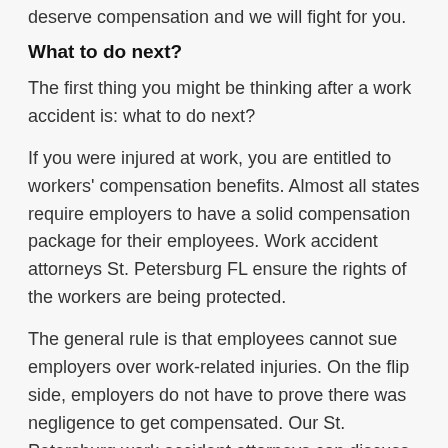deserve compensation and we will fight for you.
What to do next?
The first thing you might be thinking after a work accident is: what to do next?
If you were injured at work, you are entitled to workers' compensation benefits. Almost all states require employers to have a solid compensation package for their employees. Work accident attorneys St. Petersburg FL ensure the rights of the workers are being protected.
The general rule is that employees cannot sue employers over work-related injuries. On the flip side, employers do not have to prove there was negligence to get compensated. Our St. Petersburg work accident attorneys can discuss this further with you.
There are situations that with impact your ability to receive compensation, such as: